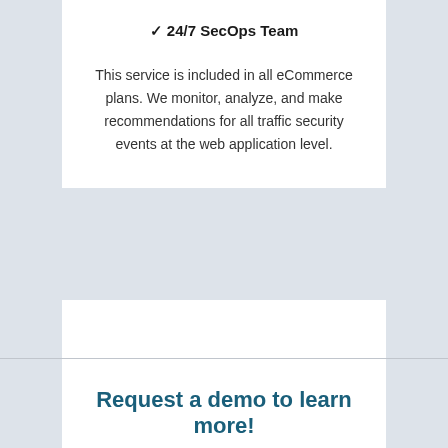✓ 24/7 SecOps Team
This service is included in all eCommerce plans. We monitor, analyze, and make recommendations for all traffic security events at the web application level.
Request a demo to learn more!